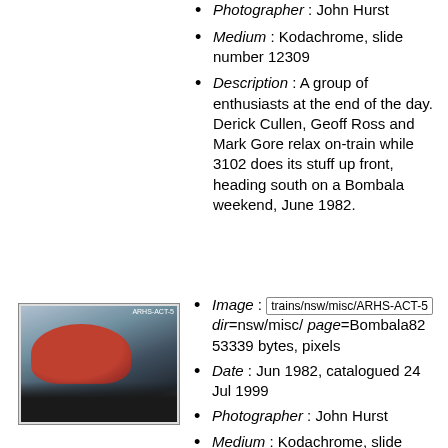Photographer : John Hurst
Medium : Kodachrome, slide number 12309
Description : A group of enthusiasts at the end of the day. Derick Cullen, Geoff Ross and Mark Gore relax on-train while 3102 does its stuff up front, heading south on a Bombala weekend, June 1982.
[Figure (photo): A photograph showing a group of people near a train with a red dome-shaped structure, outdoors.]
Image : trains/nsw/misc/ARHS-ACT-5 dir=nsw/misc/ page=Bombala82 53339 bytes, pixels
Date : Jun 1982, catalogued 24 Jul 1999
Photographer : John Hurst
Medium : Kodachrome, slide number 12312
Description : Members of the ACT